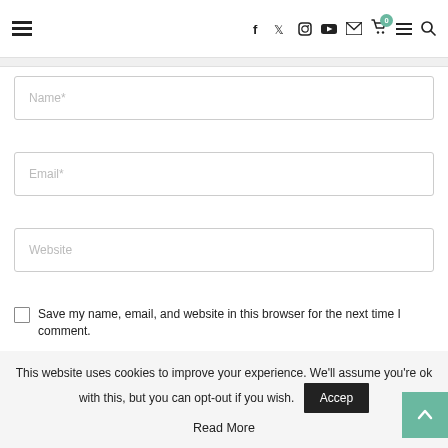Navigation bar with hamburger menu, social icons (f, twitter, instagram, youtube, mail), cart (0), menu, search
[Figure (screenshot): Form field placeholder: Name*]
[Figure (screenshot): Form field placeholder: Email*]
[Figure (screenshot): Form field placeholder: Website]
Save my name, email, and website in this browser for the next time I comment.
This website uses cookies to improve your experience. We'll assume you're ok with this, but you can opt-out if you wish.
Read More